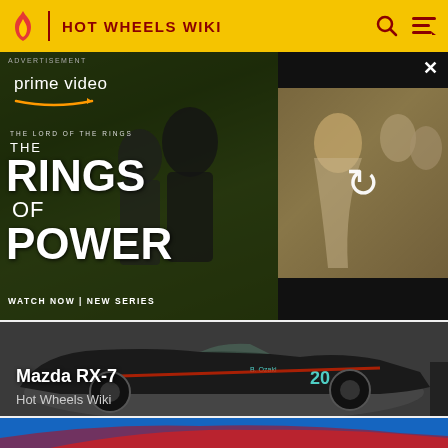HOT WHEELS WIKI
[Figure (screenshot): Amazon Prime Video advertisement for 'The Rings of Power' (Lord of the Rings series) showing two characters in a fantasy setting with text: prime video, THE LORD OF THE RINGS, THE RINGS OF POWER, WATCH NOW | NEW SERIES. Right panel shows additional characters with a reload/refresh button overlay.]
[Figure (photo): Hot Wheels die-cast model of a black Mazda RX-7 with racing livery showing number 20 and B. Ozaki branding, photographed on dark surface. Caption: Mazda RX-7, Hot Wheels Wiki.]
Mazda RX-7
Hot Wheels Wiki
[Figure (photo): Partial view of another Hot Wheels car in blue at the bottom of the page.]